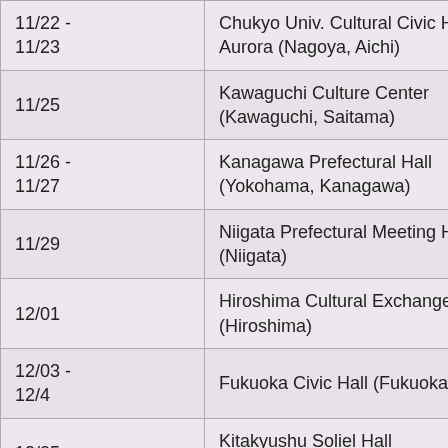| 11/22 - 11/23 | Chukyo Univ. Cultural Civic Hall Aurora (Nagoya, Aichi) |
| 11/25 | Kawaguchi Culture Center (Kawaguchi, Saitama) |
| 11/26 - 11/27 | Kanagawa Prefectural Hall (Yokohama, Kanagawa) |
| 11/29 | Niigata Prefectural Meeting Hall (Niigata) |
| 12/01 | Hiroshima Cultural Exchange Hall (Hiroshima) |
| 12/03 - 12/4 | Fukuoka Civic Hall (Fukuoka) |
| 12/05 | Kitakyushu Soliel Hall (Kitakyushu, Fukuoka) |